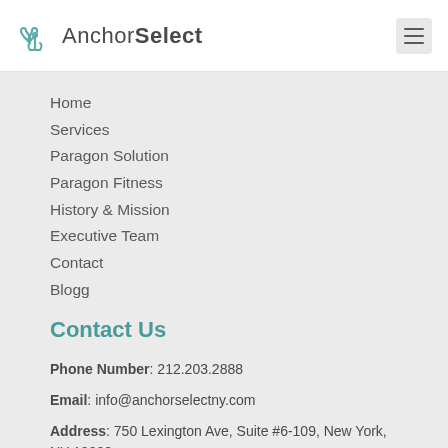[Figure (logo): AnchorSelect logo with teal heart/anchor icon and wordmark]
Home
Services
Paragon Solution
Paragon Fitness
History & Mission
Executive Team
Contact
Blogg
Contact Us
Phone Number: 212.203.2888
Email: info@anchorselectny.com
Address: 750 Lexington Ave, Suite #6-109, New York, NY 10022